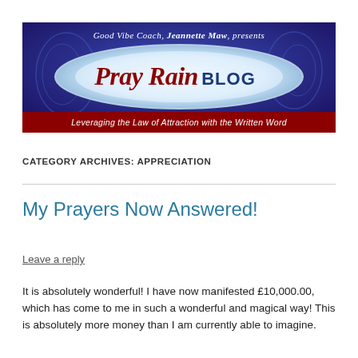[Figure (logo): Pray Rain Blog banner by Good Vibe Coach Jeannette Maw. Blue/purple background with decorative swirls, oval with 'Pray Rain BLOG' text in red and white, tagline 'Leveraging the Law of Attraction with the Written Word' on red bar.]
CATEGORY ARCHIVES: APPRECIATION
My Prayers Now Answered!
Leave a reply
It is absolutely wonderful! I have now manifested £10,000.00, which has come to me in such a wonderful and magical way! This is absolutely more money than I am currently able to imagine.